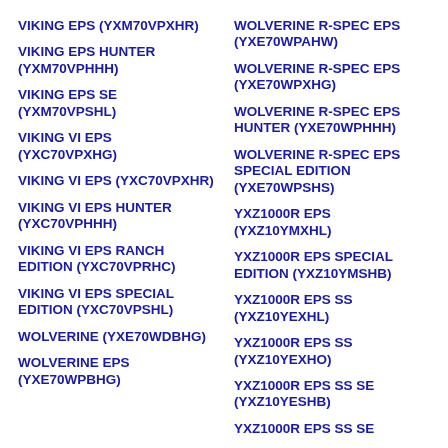VIKING EPS (YXM70VPXHR)
VIKING EPS HUNTER (YXM70VPHHH)
VIKING EPS SE (YXM70VPSHL)
VIKING VI EPS (YXC70VPXHG)
VIKING VI EPS (YXC70VPXHR)
VIKING VI EPS HUNTER (YXC70VPHHH)
VIKING VI EPS RANCH EDITION (YXC70VPRHC)
VIKING VI EPS SPECIAL EDITION (YXC70VPSHL)
WOLVERINE (YXE70WDBHG)
WOLVERINE EPS (YXE70WPBHG)
WOLVERINE R-SPEC EPS (YXE70WPAHW)
WOLVERINE R-SPEC EPS (YXE70WPXHG)
WOLVERINE R-SPEC EPS HUNTER (YXE70WPHHH)
WOLVERINE R-SPEC EPS SPECIAL EDITION (YXE70WPSHS)
YXZ1000R EPS (YXZ10YMXHL)
YXZ1000R EPS SPECIAL EDITION (YXZ10YMSHB)
YXZ1000R EPS SS (YXZ10YEXHL)
YXZ1000R EPS SS (YXZ10YEXHO)
YXZ1000R EPS SS SE (YXZ10YESHB)
YXZ1000R EPS SS SE